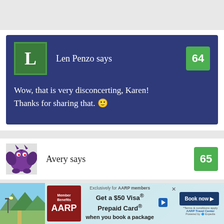[Figure (screenshot): Comment block with dark blue background. User 'Len Penzo' with green 'L' avatar, comment number 64 in green badge. Comment text: 'Wow, that is very disconcerting, Karen! Thanks for sharing that. 🙂']
Wow, that is very disconcerting, Karen! Thanks for sharing that. 🙂
[Figure (screenshot): Comment block for user 'Avery' with monster avatar, comment number 65 in green badge.]
[Figure (screenshot): AARP advertisement banner: 'Exclusively for AARP members. Get a $50 Visa Prepaid Card when you book a package. Book now. *Terms & conditions apply. AARP Travel Center Powered by Expedia']